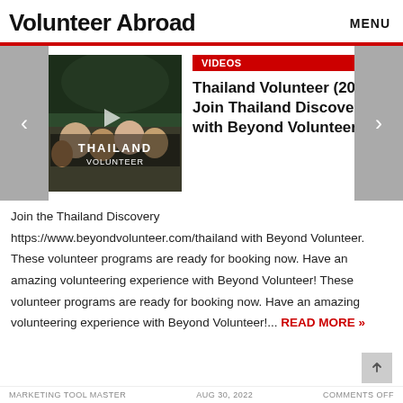Volunteer Abroad
MENU
[Figure (screenshot): Thumbnail image of Thailand Volunteer video showing group of students with text 'THAILAND VOLUNTEER' overlay]
VIDEOS
Thailand Volunteer (2022) Join Thailand Discovery with Beyond Volunteer
Join the Thailand Discovery https://www.beyondvolunteer.com/thailand with Beyond Volunteer. These volunteer programs are ready for booking now. Have an amazing volunteering experience with Beyond Volunteer! These volunteer programs are ready for booking now. Have an amazing volunteering experience with Beyond Volunteer!... READ MORE »
MARKETING TOOL MASTER     AUG 30, 2022     COMMENTS OFF